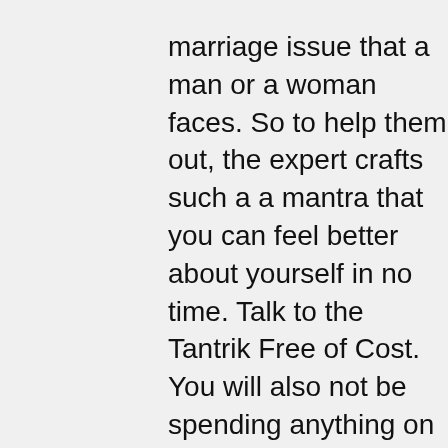marriage issue that a man or a woman faces. So to help them out, the expert crafts such a a mantra that you can feel better about yourself in no time. Talk to the Tantrik Free of Cost. You will also not be spending anything on the consultation. Give yourself the freedom to admire your issues and then have at them with full force. The vashikaran specialist will help you with that also.Rather he will feed your quest for good will. Make your person count with the help of